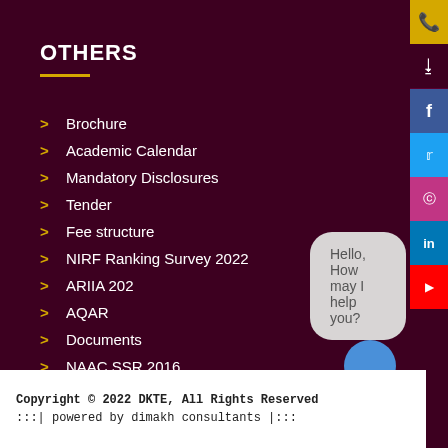OTHERS
Brochure
Academic Calendar
Mandatory Disclosures
Tender
Fee structure
NIRF Ranking Survey 2022
ARIIA 202
AQAR
Documents
NAAC SSR 2016
DKTE IP Cell
Hello, How may I help you?
Copyright © 2022 DKTE, All Rights Reserved
:::| powered by dimakh consultants |:::